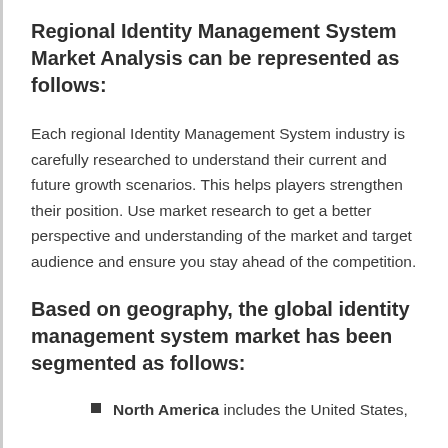Regional Identity Management System Market Analysis can be represented as follows:
Each regional Identity Management System industry is carefully researched to understand their current and future growth scenarios. This helps players strengthen their position. Use market research to get a better perspective and understanding of the market and target audience and ensure you stay ahead of the competition.
Based on geography, the global identity management system market has been segmented as follows:
North America includes the United States,